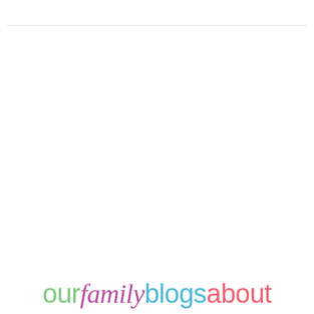[Figure (logo): Blog logo reading 'our family blogs about' in colorful mixed fonts — 'our' in green, 'family' in purple italic script, 'blogs' in light blue, 'about' in coral/pink, all on white background with a thin gray horizontal line near the top.]